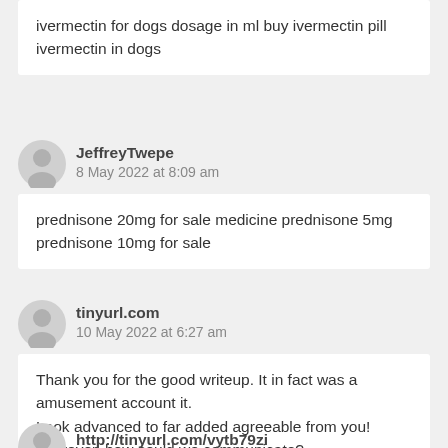ivermectin for dogs dosage in ml buy ivermectin pill ivermectin in dogs
JeffreyTwepe
8 May 2022 at 8:09 am
prednisone 20mg for sale medicine prednisone 5mg prednisone 10mg for sale
tinyurl.com
10 May 2022 at 6:27 am
Thank you for the good writeup. It in fact was a amusement account it.
Look advanced to far added agreeable from you!
However, how could we communicate?
http://tinyurl.com/vytb79zi